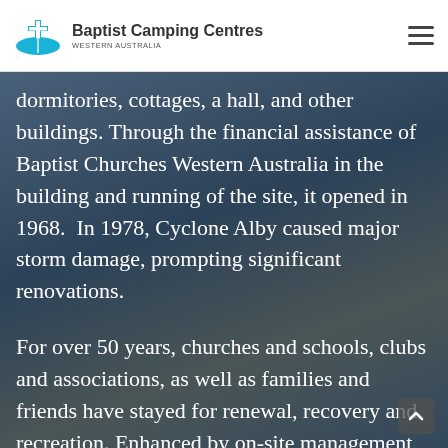Baptist Camping Centres Western Australia
dormitories, cottages, a hall, and other buildings. Through the financial assistance of Baptist Churches Western Australia in the building and running of the site, it opened in 1968.  In 1978, Cyclone Alby caused major storm damage, prompting significant renovations.
For over 50 years, churches and schools, clubs and associations, as well as families and friends have stayed for renewal, recovery and recreation. Enhanced by on-site management and constant